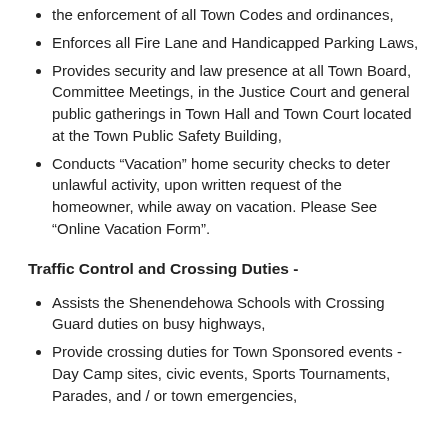the enforcement of all Town Codes and ordinances,
Enforces all Fire Lane and Handicapped Parking Laws,
Provides security and law presence at all Town Board, Committee Meetings, in the Justice Court and general public gatherings in Town Hall and Town Court located at the Town Public Safety Building,
Conducts “Vacation” home security checks to deter unlawful activity, upon written request of the homeowner, while away on vacation. Please See “Online Vacation Form”.
Traffic Control and Crossing Duties -
Assists the Shenendehowa Schools with Crossing Guard duties on busy highways,
Provide crossing duties for Town Sponsored events - Day Camp sites, civic events, Sports Tournaments, Parades, and / or town emergencies,